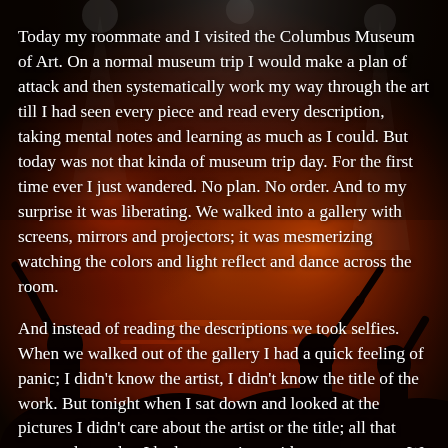[Figure (photo): Dark concert/event venue photo with warm orange and red lighting, silhouettes of people with raised hands, stage lighting in background]
Today my roommate and I visited the Columbus Museum of Art. On a normal museum trip I would make a plan of attack and then systematically work my way through the art till I had seen every piece and read every description, taking mental notes and learning as much as I could. But today was not that kinda of museum trip day. For the first time ever I just wandered. No plan. No order. And to my surprise it was liberating. We walked into a gallery with screens, mirrors and projectors; it was mesmerizing watching the colors and light reflect and dance across the room.
And instead of reading the descriptions we took selfies. When we walked out of the gallery I had a quick feeling of panic; I didn't know the artist, I didn't know the title of the work. But tonight when I sat down and looked at the pictures I didn't care about the artist or the title; all that mattered was that I had a great time with my roommate. We don't get to have adventures super often, so this time was special.
In 10 years I would rather be able to look back at the pictures we took of ourselves than recognize the installation in a book. So I plan on taking more selfies with my friends, and reading